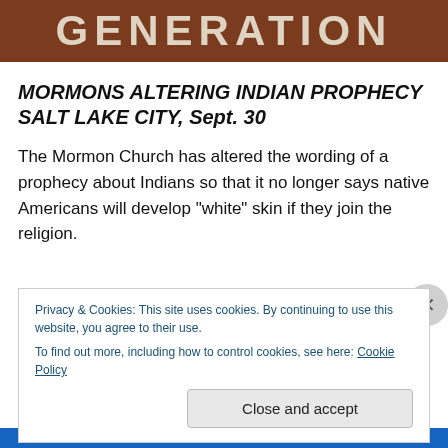[Figure (photo): Brown banner with large stylized text reading 'GENERATION' in cream/off-white letters]
MORMONS ALTERING INDIAN PROPHECY SALT LAKE CITY, Sept. 30
The Mormon Church has altered the wording of a prophecy about Indians so that it no longer says native Americans will develop "white" skin if they join the religion.
Privacy & Cookies: This site uses cookies. By continuing to use this website, you agree to their use.
To find out more, including how to control cookies, see here: Cookie Policy
Close and accept